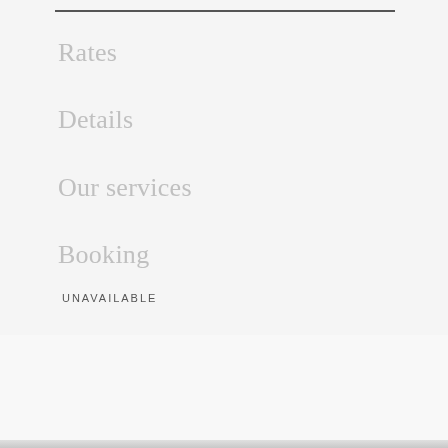Rates
Details
Our services
Booking
UNAVAILABLE
GALLERY
Explore the villa EDEN VIEW